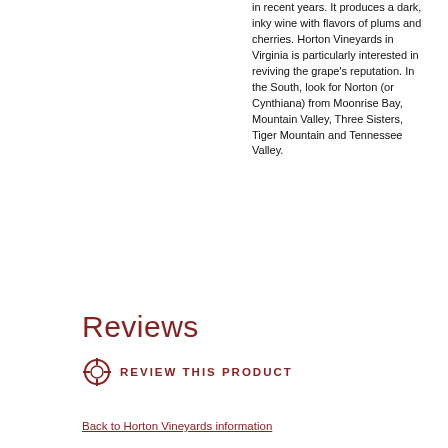in recent years. It produces a dark, inky wine with flavors of plums and cherries. Horton Vineyards in Virginia is particularly interested in reviving the grape's reputation. In the South, look for Norton (or Cynthiana) from Moonrise Bay, Mountain Valley, Three Sisters, Tiger Mountain and Tennessee Valley.
Reviews
Review this Product
Back to Horton Vineyards information